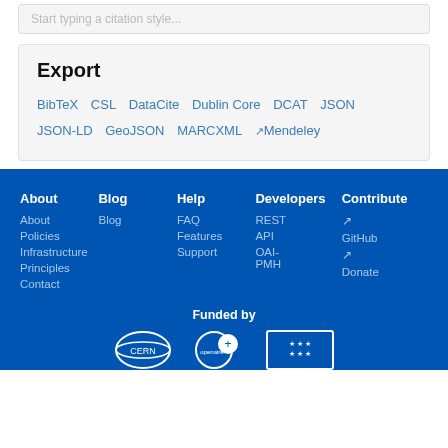Start typing a citation style...
Export
BibTeX  CSL  DataCite  Dublin Core  DCAT  JSON  JSON-LD  GeoJSON  MARCXML  Mendeley
About Blog Help Developers Contribute | About Policies Infrastructure Principles Contact | Blog | FAQ Features Support | REST API OAI-PMH | GitHub Donate | Funded by
[Figure (logo): CERN logo, OpenAIRE logo, EU stars logo]